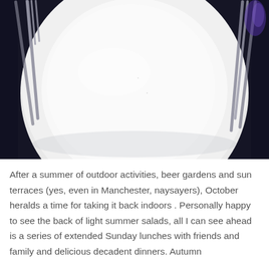[Figure (photo): A white dinner plate on a dark navy/black tablecloth, flanked by silver cutlery (forks on the left, knives on the right). The plate is round and empty, with a raised rim. The setting appears formal.]
After a summer of outdoor activities, beer gardens and sun terraces (yes, even in Manchester, naysayers), October heralds a time for taking it back indoors . Personally happy to see the back of light summer salads, all I can see ahead is a series of extended Sunday lunches with friends and family and delicious decadent dinners. Autumn